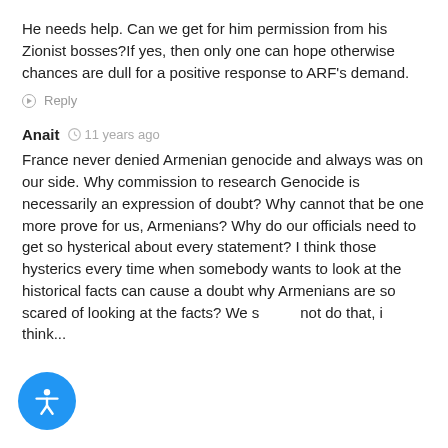He needs help. Can we get for him permission from his Zionist bosses?If yes, then only one can hope otherwise chances are dull for a positive response to ARF's demand.
Reply
Anait  11 years ago
France never denied Armenian genocide and always was on our side. Why commission to research Genocide is necessarily an expression of doubt? Why cannot that be one more prove for us, Armenians? Why do our officials need to get so hysterical about every statement? I think those hysterics every time when somebody wants to look at the historical facts can cause a doubt why Armenians are so scared of looking at the facts? We should not do that, i think...